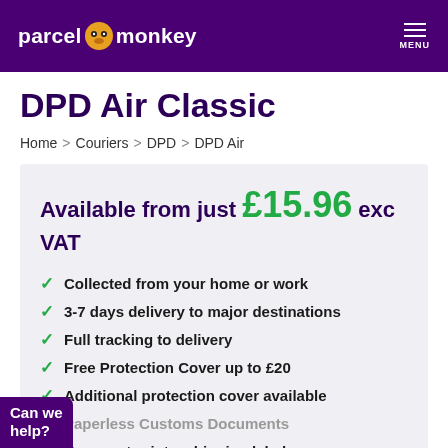parcel monkey  MENU
DPD Air Classic
Home > Couriers > DPD > DPD Air
Available from just £15.96 exc VAT
Collected from your home or work
3-7 days delivery to major destinations
Full tracking to delivery
Free Protection Cover up to £20
Additional protection cover available
Paperless Customs Documents
You must print a shipping label